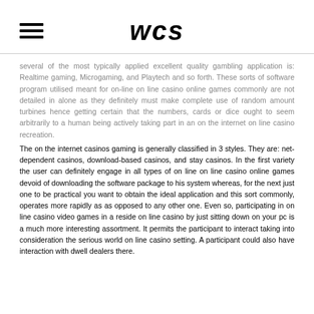WCS
several of the most typically applied excellent quality gambling application is: Realtime gaming, Microgaming, and Playtech and so forth. These sorts of software program utilised meant for on-line on line casino online games commonly are not detailed in alone as they definitely must make complete use of random amount turbines hence getting certain that the numbers, cards or dice ought to seem arbitrarily to a human being actively taking part in an on the internet on line casino recreation.
The on the internet casinos gaming is generally classified in 3 styles. They are: net-dependent casinos, download-based casinos, and stay casinos. In the first variety the user can definitely engage in all types of on line on line casino online games devoid of downloading the software package to his system whereas, for the next just one to be practical you want to obtain the ideal application and this sort commonly, operates more rapidly as as opposed to any other one. Even so, participating in on line casino video games in a reside on line casino by just sitting down on your pc is a much more interesting assortment. It permits the participant to interact taking into consideration the serious world on line casino setting. A participant could also have interaction with dwell dealers there.